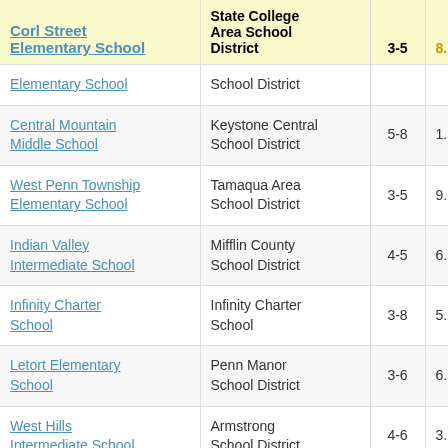| Corl Street Elementary School | State College Area School District | 3-5 | 8. |
| --- | --- | --- | --- |
| Elementary School | School District |  |  |
| Central Mountain Middle School | Keystone Central School District | 5-8 | 1. |
| West Penn Township Elementary School | Tamaqua Area School District | 3-5 | 9. |
| Indian Valley Intermediate School | Mifflin County School District | 4-5 | 6. |
| Infinity Charter School | Infinity Charter School | 3-8 | 5. |
| Letort Elementary School | Penn Manor School District | 3-6 | 6. |
| West Hills Intermediate School | Armstrong School District | 4-6 | 3. |
| Grover Cleveland Elementary School | Erie City School District | 3-5 | 7. |